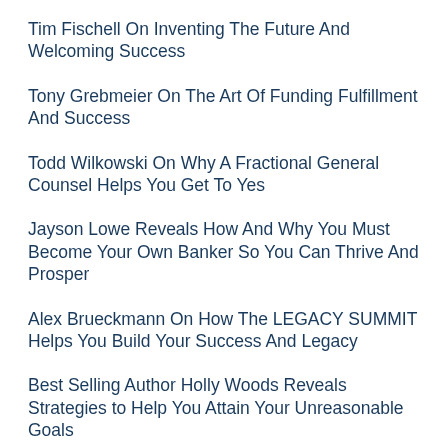Tim Fischell On Inventing The Future And Welcoming Success
Tony Grebmeier On The Art Of Funding Fulfillment And Success
Todd Wilkowski On Why A Fractional General Counsel Helps You Get To Yes
Jayson Lowe Reveals How And Why You Must Become Your Own Banker So You Can Thrive And Prosper
Alex Brueckmann On How The LEGACY SUMMIT Helps You Build Your Success And Legacy
Best Selling Author Holly Woods Reveals Strategies to Help You Attain Your Unreasonable Goals